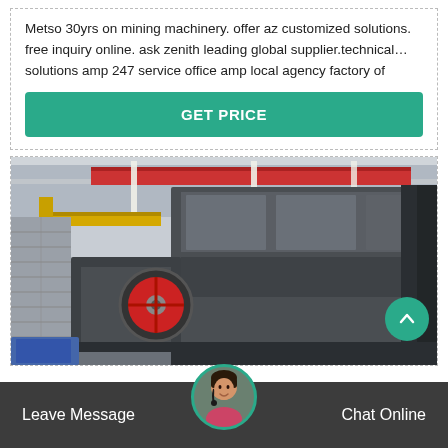Metso 30yrs on mining machinery. offer az customized solutions. free inquiry online. ask zenith leading global supplier.technical… solutions amp 247 service office amp local agency factory of
GET PRICE
[Figure (photo): Interior of a large industrial factory/warehouse with a jaw crusher or heavy mining machine in the foreground. Red overhead crane beam visible, fluorescent tube lights on ceiling, concrete block walls.]
Leave Message
Chat Online